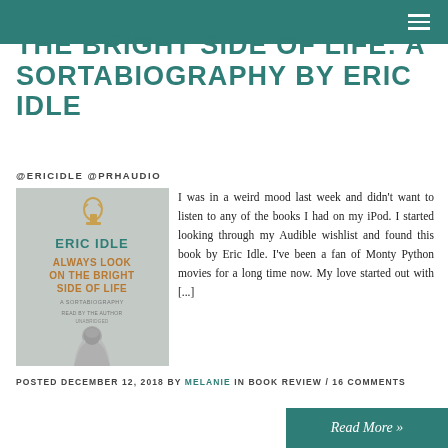THE BRIGHT SIDE OF LIFE: A SORTABIOGRAPHY BY ERIC IDLE
@ERICIDLE @PRHAUDIO
[Figure (photo): Book cover for 'Always Look on the Bright Side of Life: A Sortabiography' by Eric Idle, read by the author, showing a figure in robes and a golden trophy/chalice at the top on a grey background.]
I was in a weird mood last week and didn't want to listen to any of the books I had on my iPod. I started looking through my Audible wishlist and found this book by Eric Idle. I've been a fan of Monty Python movies for a long time now. My love started out with [...]
POSTED DECEMBER 12, 2018 BY MELANIE IN BOOK REVIEW / 16 COMMENTS
Read More »